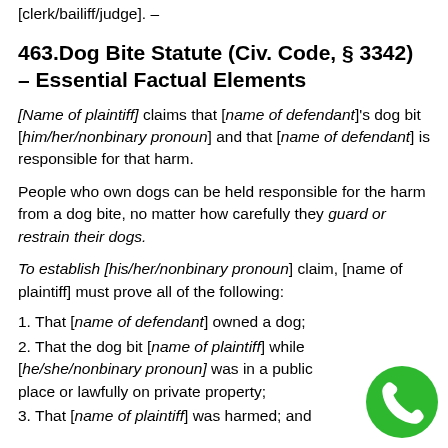[clerk/bailiff/judge]. –
463.Dog Bite Statute (Civ. Code, § 3342) – Essential Factual Elements
[Name of plaintiff] claims that [name of defendant]'s dog bit [him/her/nonbinary pronoun] and that [name of defendant] is responsible for that harm.
People who own dogs can be held responsible for the harm from a dog bite, no matter how carefully they guard or restrain their dogs.
To establish [his/her/nonbinary pronoun] claim, [name of plaintiff] must prove all of the following:
1. That [name of defendant] owned a dog;
2. That the dog bit [name of plaintiff] while [he/she/nonbinary pronoun] was in a public place or lawfully on private property;
3. That [name of plaintiff] was harmed; and
[Figure (illustration): Green circular phone/call button icon in the bottom-right corner]